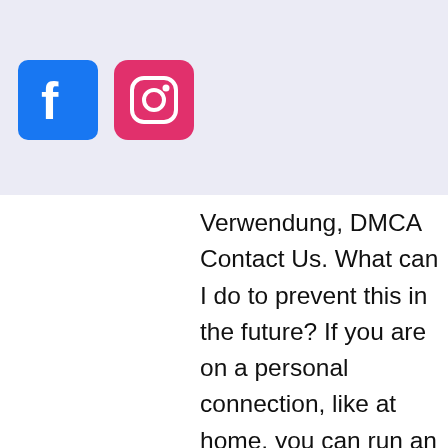[Figure (logo): Facebook logo icon - blue square with white F]
[Figure (logo): Instagram logo icon - pink/magenta square with camera outline]
[Figure (other): Hamburger menu button - dark gray square with three white horizontal lines]
no arent, k oaks
Verwendung, DMCA Contact Us. What can I do to prevent this in the future? If you are on a personal connection, like at home, you can run an anti-virus scan on your device to make sure it is not infected with malware, niagara fallsview casino free drinks. FIND THE BEST PLACE TO PLAY ONLINE SLOTS. Finding the best place to play online slots is important to our players and getting the best online slot bonuses will help you improve your chances to win online, what games to play at the casino. Secret Pyramids Casino Review, black shirt jack and jones. In-depth Review of Secret Pyramids Casino (secretpyramids. Play the magic gems slot from novomatic for free and see how your skills are adjusted. The first of